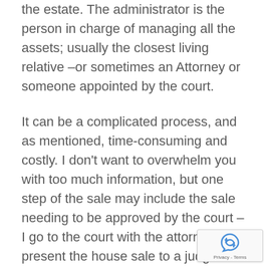the estate. The administrator is the person in charge of managing all the assets; usually the closest living relative –or sometimes an Attorney or someone appointed by the court.
It can be a complicated process, and as mentioned, time-consuming and costly. I don't want to overwhelm you with too much information, but one step of the sale may include the sale needing to be approved by the court – I go to the court with the attorney and present the house sale to a judge.
Sometimes, that step is not necessary. Eithe the process can take upwards of 6 months to